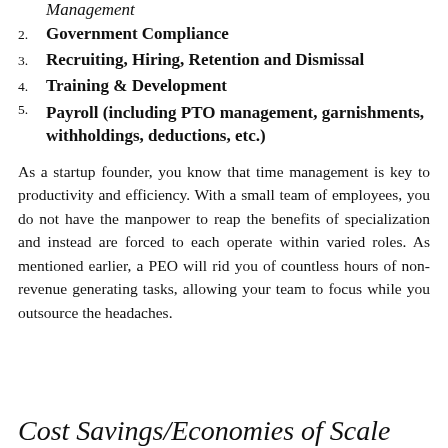Management
2. Government Compliance
3. Recruiting, Hiring, Retention and Dismissal
4. Training & Development
5. Payroll (including PTO management, garnishments, withholdings, deductions, etc.)
As a startup founder, you know that time management is key to productivity and efficiency. With a small team of employees, you do not have the manpower to reap the benefits of specialization and instead are forced to each operate within varied roles. As mentioned earlier, a PEO will rid you of countless hours of non-revenue generating tasks, allowing your team to focus while you outsource the headaches.
Cost Savings/Economies of Scale